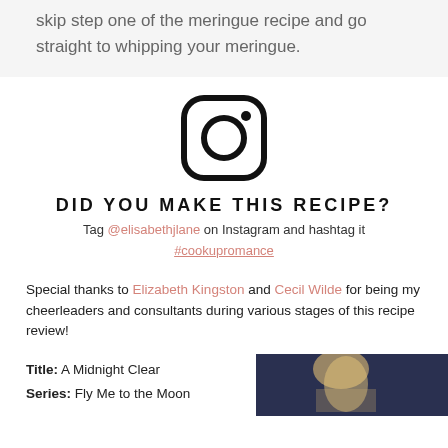skip step one of the meringue recipe and go straight to whipping your meringue.
[Figure (logo): Instagram logo icon — rounded square outline with circle and dot]
DID YOU MAKE THIS RECIPE?
Tag @elisabethjlane on Instagram and hashtag it #cookupromance
Special thanks to Elizabeth Kingston and Cecil Wilde for being my cheerleaders and consultants during various stages of this recipe review!
Title: A Midnight Clear
Series: Fly Me to the Moon
[Figure (photo): Portrait photo of a woman with blonde hair against dark blue/night sky background]